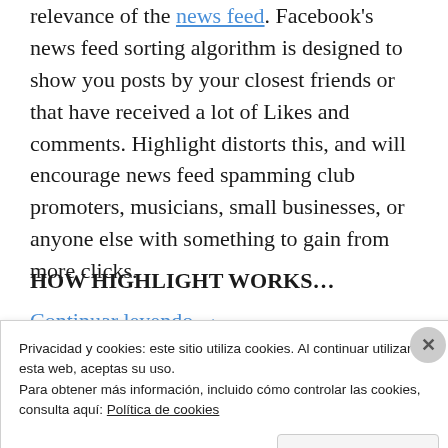relevance of the news feed. Facebook's news feed sorting algorithm is designed to show you posts by your closest friends or that have received a lot of Likes and comments. Highlight distorts this, and will encourage news feed spamming club promoters, musicians, small businesses, or anyone else with something to gain from more clicks.
HOW HIGHLIGHT WORKS...
Continuar leyendo →
Privacidad y cookies: este sitio utiliza cookies. Al continuar utilizando esta web, aceptas su uso.
Para obtener más información, incluido cómo controlar las cookies, consulta aquí: Política de cookies
Cerrar y aceptar